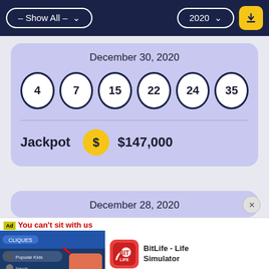– Show All –   2020
December 30, 2020
4  7  15  22  24  35
Jackpot  $  $147,000
December 28, 2020
[Figure (screenshot): BitLife - Life Simulator advertisement with 'You can't sit with us' ad banner showing social media app screenshot on left and BitLife app icon on right, with Install! button at bottom]